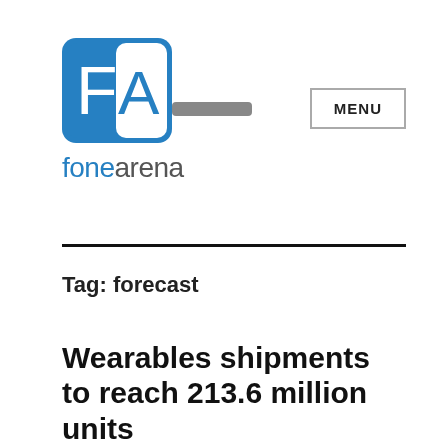[Figure (logo): FoneArena logo: blue square icon with white F and white A letters, grey horizontal bar, with text 'fonearena' below in blue and grey]
MENU
Tag: forecast
Wearables shipments to reach 213.6 million units